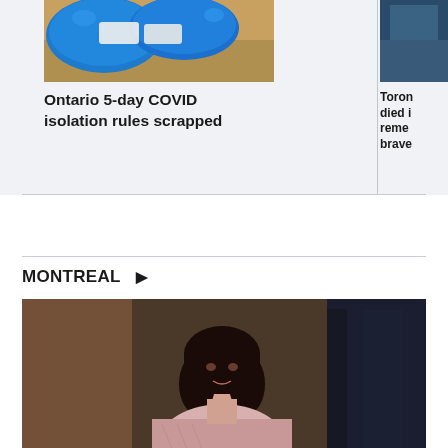[Figure (photo): Gloved hands holding COVID rapid test kits]
Ontario 5-day COVID isolation rules scrapped
[Figure (photo): Partial image of person, clipped on right side]
Toron died i reme brave
MONTREAL >
[Figure (photo): Woman with dark hair wearing a pink tweed jacket, speaking or presenting in an ornate room]